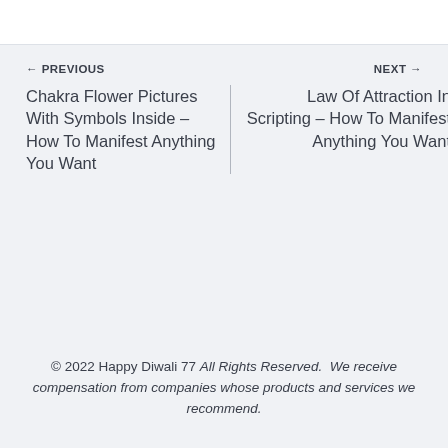← PREVIOUS
NEXT →
Chakra Flower Pictures With Symbols Inside – How To Manifest Anything You Want
Law Of Attraction In Scripting – How To Manifest Anything You Want
© 2022 Happy Diwali 77 All Rights Reserved.  We receive compensation from companies whose products and services we recommend.